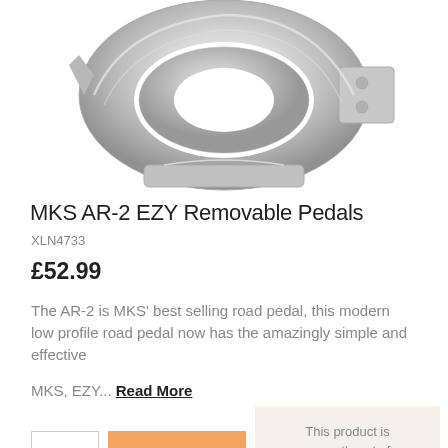[Figure (photo): Photo of MKS AR-2 EZY Removable Pedals, chrome/silver metal bicycle pedals shown from above on white background]
MKS AR-2 EZY Removable Pedals
XLN4733
£52.99
The AR-2 is MKS' best selling road pedal, this modern low profile road pedal now has the amazingly simple and effective
MKS, EZY... Read More
This product is currently out of stock, to enquire